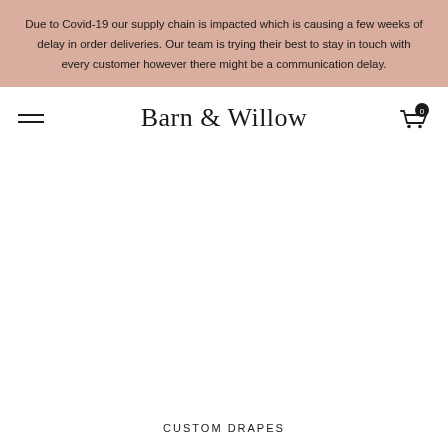Due to Covid-19 our supply chain is impacted which is causing a few weeks of delay in order deliveries. Our team is trying their best to stay in touch with every customer however there might be a communication delay.
Barn & Willow
CUSTOM DRAPES